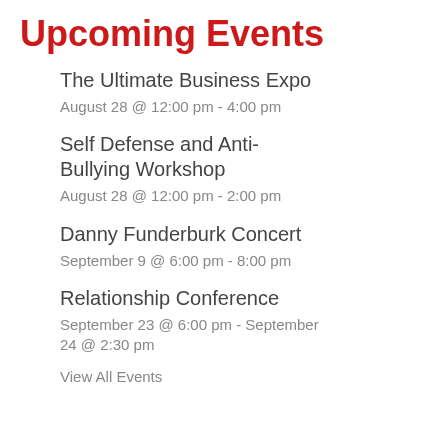Upcoming Events
The Ultimate Business Expo
August 28 @ 12:00 pm - 4:00 pm
Self Defense and Anti-Bullying Workshop
August 28 @ 12:00 pm - 2:00 pm
Danny Funderburk Concert
September 9 @ 6:00 pm - 8:00 pm
Relationship Conference
September 23 @ 6:00 pm - September 24 @ 2:30 pm
View All Events